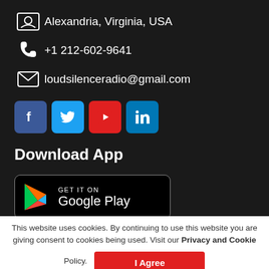Alexandria, Virginia, USA
+1 212-602-9641
loudsilenceradio@gmail.com
[Figure (other): Social media icon buttons: Facebook, Twitter, YouTube, LinkedIn]
Download App
[Figure (other): Google Play Store badge: GET IT ON Google Play]
This website uses cookies. By continuing to use this website you are giving consent to cookies being used. Visit our Privacy and Cookie Policy.
I Agree